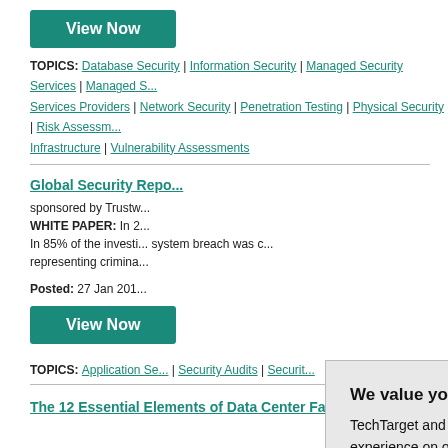View Now
TOPICS: Database Security | Information Security | Managed Security Services | Managed S... Services Providers | Network Security | Penetration Testing | Physical Security | Risk Assessm... Infrastructure | Vulnerability Assessments
Global Security Repo...
sponsored by Trustw...
WHITE PAPER: In 2... In 85% of the investi... system breach was c... representing crimina...
Posted: 27 Jan 201...
View Now
TOPICS: Application Se... | Security Audits | Securit...
The 12 Essential Elements of Data Center Facility Operations
We value your privacy. TechTarget and its partners employ cookies to improve your experience on our site, to analyze traffic and performance, and to serve personalized content and advertising that are relevant to your professional interests. You can manage your settings at any time. Please view our Privacy Policy for more information
OK
Settings